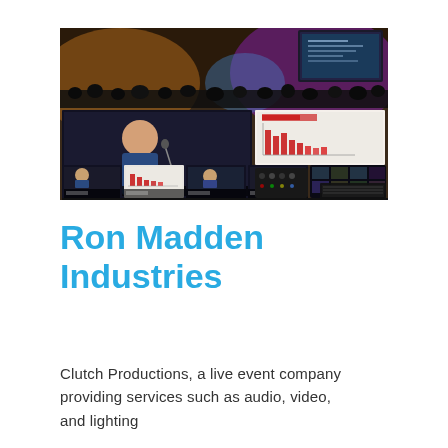[Figure (photo): Photo of a live event production setup showing multiple screens displaying a presenter on stage, a bar chart slide, and video feed thumbnails. A control desk with monitors and equipment is visible in the foreground. The venue has colorful stage lighting in the background.]
Ron Madden Industries
Clutch Productions, a live event company providing services such as audio, video, and lighting